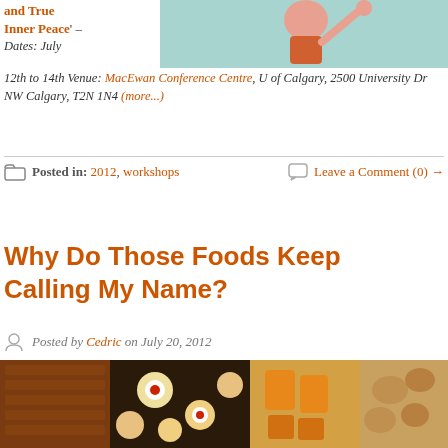and True Inner Peace' – Dates: July 12th to 14th Venue: MacEwan Conference Centre, U of Calgary, 2500 University Dr NW Calgary, T2N 1N4 (more...)
[Figure (photo): Person with arm raised, teal/cyan background, appears to be a workshop or event photo]
Posted in: 2012, workshops
Leave a Comment (0) →
Why Do Those Foods Keep Calling My Name?
Posted by Cedric on July 20, 2012
[Figure (photo): Collage of food images: chocolate, sushi/pastries with berries, orange gelatin molds, and bread/rolls]